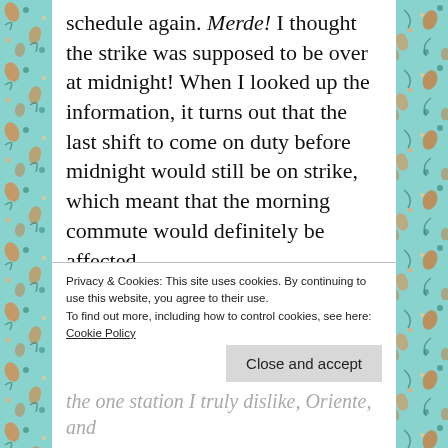schedule again. Merde! I thought the strike was supposed to be over at midnight! When I looked up the information, it turns out that the last shift to come on duty before midnight would still be on strike, which meant that the morning commute would definitely be affected.
Long story short, by 06:45 three trains should have passed by, but only one did, and the passengers of the two previous trains
Privacy & Cookies: This site uses cookies. By continuing to use this website, you agree to their use.
To find out more, including how to control cookies, see here:
Cookie Policy
the one station I truly dislike, Oriente, and